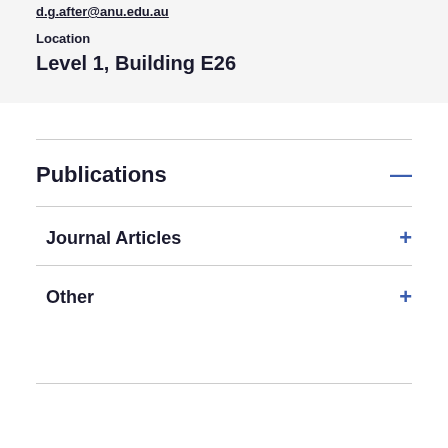d.g.after@anu.edu.au
Location
Level 1, Building E26
Publications
Journal Articles
Other